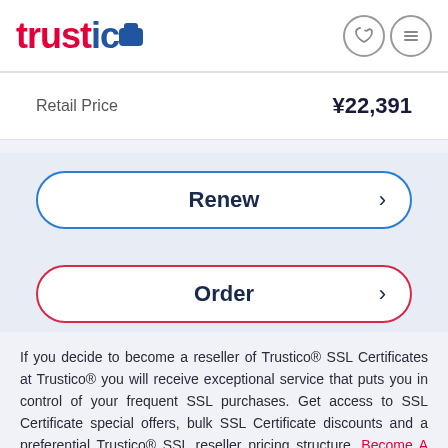trustico
|  |  |
| --- | --- |
| Retail Price | ¥22,391 |
Renew >
Order >
If you decide to become a reseller of Trustico® SSL Certificates at Trustico® you will receive exceptional service that puts you in control of your frequent SSL purchases. Get access to SSL Certificate special offers, bulk SSL Certificate discounts and a preferential Trustico® SSL reseller pricing structure. Become A Reseller Instantly